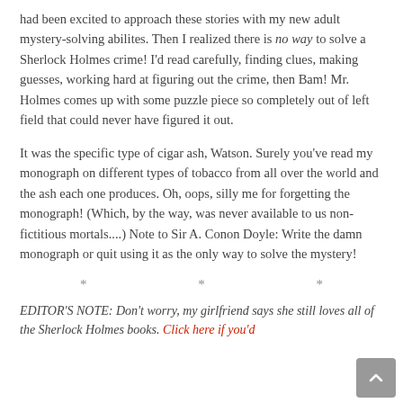had been excited to approach these stories with my new adult mystery-solving abilites. Then I realized there is no way to solve a Sherlock Holmes crime! I'd read carefully, finding clues, making guesses, working hard at figuring out the crime, then Bam! Mr. Holmes comes up with some puzzle piece so completely out of left field that could never have figured it out.
It was the specific type of cigar ash, Watson. Surely you've read my monograph on different types of tobacco from all over the world and the ash each one produces. Oh, oops, silly me for forgetting the monograph! (Which, by the way, was never available to us non-fictitious mortals....) Note to Sir A. Conon Doyle: Write the damn monograph or quit using it as the only way to solve the mystery!
* * *
EDITOR'S NOTE: Don't worry, my girlfriend says she still loves all of the Sherlock Holmes books. Click here if you'd